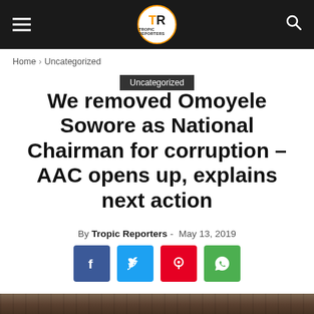Tropic Reporters
Home › Uncategorized
Uncategorized
We removed Omoyele Sowore as National Chairman for corruption – AAC opens up, explains next action
By Tropic Reporters - May 13, 2019
[Figure (other): Social sharing buttons: Facebook, Twitter, Pinterest, WhatsApp]
[Figure (photo): Bottom partial image preview, dark brown tones]